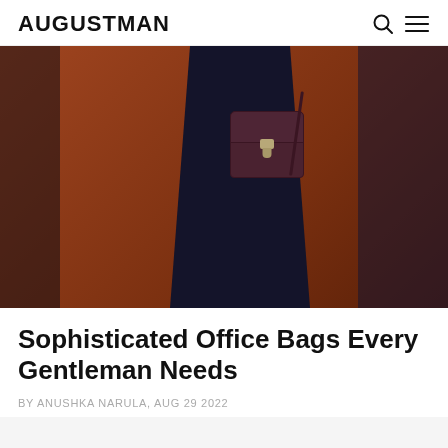AUGUSTMAN
[Figure (photo): A person wearing dark clothing carrying a dark burgundy/brown leather briefcase bag, against an orange-brown background. The bag has a structured rectangular shape with a flap closure and metal clasp hardware.]
Sophisticated Office Bags Every Gentleman Needs
BY ANUSHKA NARULA, AUG 29 2022